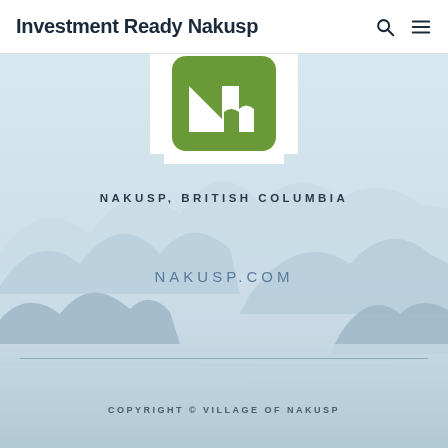Investment Ready Nakusp
[Figure (logo): Village of Nakusp logo — green rounded square with white stylized N/mountain shape, partially visible at top]
NAKUSP, BRITISH COLUMBIA
NAKUSP.COM
COPYRIGHT © VILLAGE OF NAKUSP